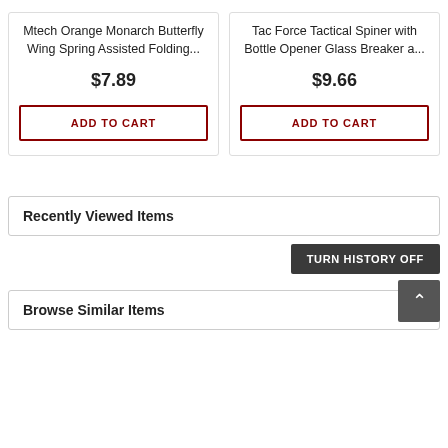Mtech Orange Monarch Butterfly Wing Spring Assisted Folding...
$7.89
ADD TO CART
Tac Force Tactical Spiner with Bottle Opener Glass Breaker a...
$9.66
ADD TO CART
Recently Viewed Items
TURN HISTORY OFF
Browse Similar Items